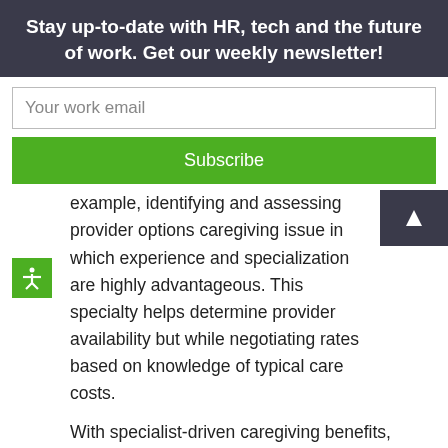Stay up-to-date with HR, tech and the future of work. Get our weekly newsletter!
Your work email
Subscribe
example, identifying and assessing provider options caregiving issue in which experience and specialization are highly advantageous. This specialty helps determine provider availability but while negotiating rates based on knowledge of typical care costs.
With specialist-driven caregiving benefits, employees no longer need mastermind a highly complex, multi-factor caregiving regimen.
COVID-19 has pushed employers toward a number of new norms. One of those should be taking better care of employee elder caregivers. And we can do that through increased employer awareness, systemic